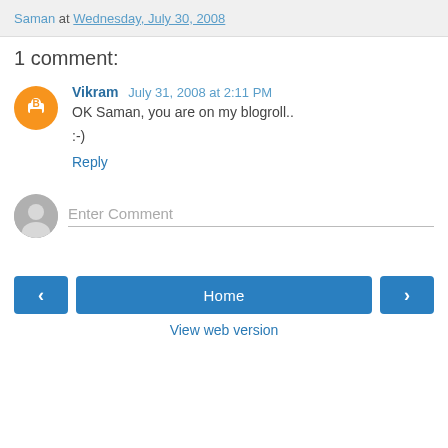Saman at Wednesday, July 30, 2008
1 comment:
Vikram  July 31, 2008 at 2:11 PM
OK Saman, you are on my blogroll..
:-)
Reply
Enter Comment
< Home > View web version